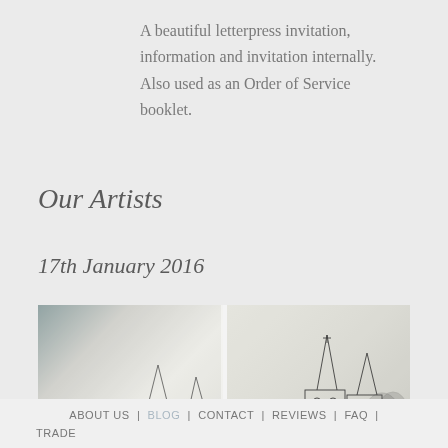A beautiful letterpress invitation, information and invitation internally. Also used as an Order of Service booklet.
Our Artists
17th January 2016
[Figure (photo): Two close-up photographs of letterpress-printed stationery featuring pen-and-ink architectural sketches of a church building with trees, shown on textured white paper.]
ABOUT US | BLOG | CONTACT | REVIEWS | FAQ | TRADE